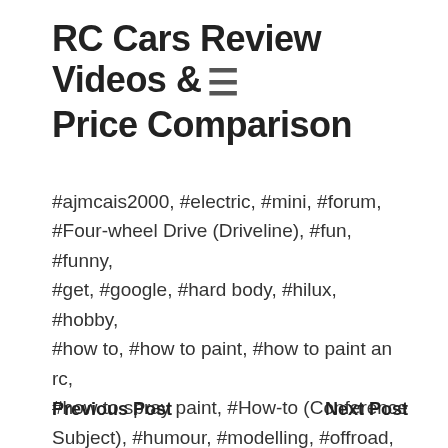RC Cars Review Videos & Price Comparison
#ajmcais2000, #electric, #mini, #forum, #Four-wheel Drive (Driveline), #fun, #funny, #get, #google, #hard body, #hilux, #hobby, #how to, #how to paint, #how to paint an rc, #how to spray paint, #How-to (Conference Subject), #humour, #modelling, #offroad, #purchase, #Radio, #Radio Control (Invention), #rc, #RC4WD, #RC4WD Trail Finder 2, #rcsparks, #remote, #Remote Control (Invention), #Review, #studio, #tamiya, #toyota, #truck, #trucks, #tutorial, #YouTube
Previous Post   Next Post